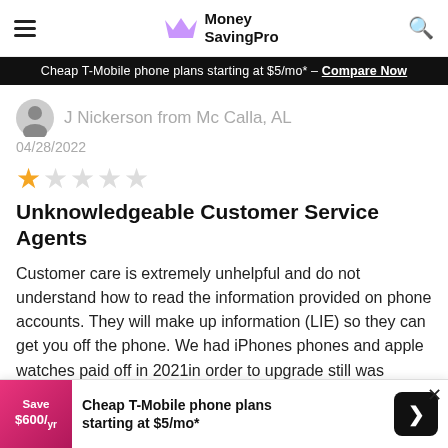Money SavingPro
Cheap T-Mobile phone plans starting at $5/mo* - Compare Now
J Nickerson from Mc Calla, AL
04/28/2022
[Figure (other): 1 out of 5 stars rating]
Unknowledgeable Customer Service Agents
Customer care is extremely unhelpful and do not understand how to read the information provided on phone accounts. They will make up information (LIE) so they can get you off the phone. We had iPhones phones and apple watches paid off in 2021in order to upgrade still was unable to upgrade
Cheap T-Mobile phone plans starting at $5/mo*